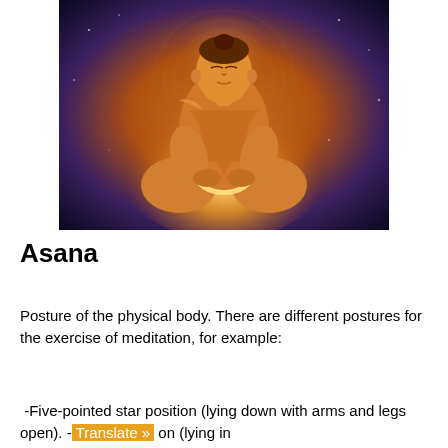[Figure (illustration): Illustration of a meditating figure in orange robes seated in lotus position, with a glowing light emanating from the hands, set against a colorful cosmic/mandala background.]
Asana
Posture of the physical body. There are different postures for the exercise of meditation, for example:
-Five-pointed star position (lying down with arms and legs open). -[partially obscured by Translate bar] on (lying in